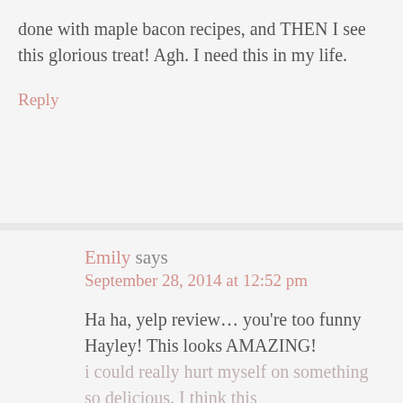done with maple bacon recipes, and THEN I see this glorious treat! Agh. I need this in my life.
Reply
Emily says
September 28, 2014 at 12:52 pm
Ha ha, yelp review… you're too funny Hayley! This looks AMAZING! i could really hurt myself on something so delicious. I think this